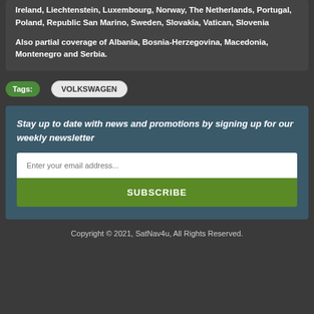Ireland, Liechtenstein, Luxembourg, Norway, The Netherlands, Portugal, Poland, Republic San Marino, Sweden, Slovakia, Vatican, Slovenia
Also partial coverage of Albania, Bosnia-Herzegovina, Macedonia, Montenegro and Serbia.
Tags: VOLKSWAGEN
Stay up to date with news and promotions by signing up for our weekly newsletter
Enter your email address...
SUBSCRIBE
Copyright © 2021, SatNav4u, All Rights Reserved.